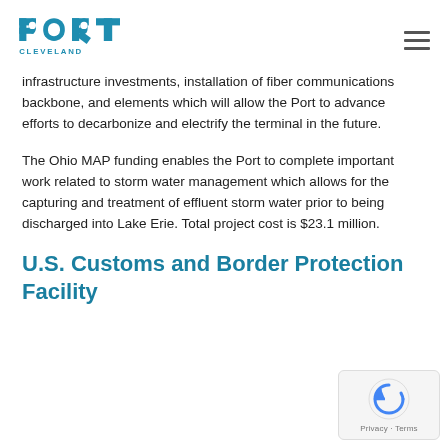Port Cleveland
infrastructure investments, installation of fiber communications backbone, and elements which will allow the Port to advance efforts to decarbonize and electrify the terminal in the future.
The Ohio MAP funding enables the Port to complete important work related to storm water management which allows for the capturing and treatment of effluent storm water prior to being discharged into Lake Erie. Total project cost is $23.1 million.
U.S. Customs and Border Protection Facility